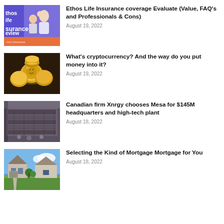[Figure (photo): Ethos Life Insurance review thumbnail showing a family with baby and promotional banner text]
Ethos Life Insurance coverage Evaluate (Value, FAQ's and Professionals & Cons)
August 19, 2022
[Figure (photo): Gold cryptocurrency coins including Dogecoin on dark background]
What's cryptocurrency? And the way do you put money into it?
August 19, 2022
[Figure (photo): Aerial view of industrial high-tech plant or facility]
Canadian firm Xnrgy chooses Mesa for $145M headquarters and high-tech plant
August 18, 2022
[Figure (photo): Suburban house with blue sky, mortgage article thumbnail]
Selecting the Kind of Mortgage Mortgage for You
August 18, 2022